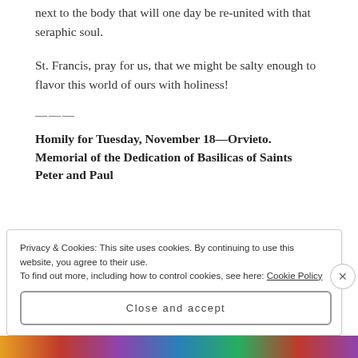next to the body that will one day be re-united with that seraphic soul.
St. Francis, pray for us, that we might be salty enough to flavor this world of ours with holiness!
———
Homily for Tuesday, November 18—Orvieto. Memorial of the Dedication of Basilicas of Saints Peter and Paul
Privacy & Cookies: This site uses cookies. By continuing to use this website, you agree to their use.
To find out more, including how to control cookies, see here: Cookie Policy
Close and accept